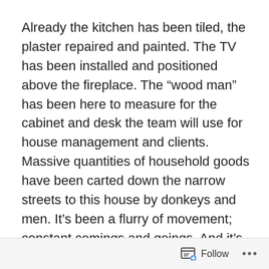Already the kitchen has been tiled, the plaster repaired and painted. The TV has been installed and positioned above the fireplace. The “wood man” has been here to measure for the cabinet and desk the team will use for house management and clients. Massive quantities of household goods have been carted down the narrow streets to this house by donkeys and men. It’s been a flurry of movement; constant comings and goings. And it’s been a lot of fun.
The only problem so far really has been with the representative of the previous owner, who is not a decent man. Looking like a young Jack Nicholson (whom I love), this guy looks flashy and untrustworthy. He stands out like a sore thumb in this traditional neighborhood filled with
Follow ...